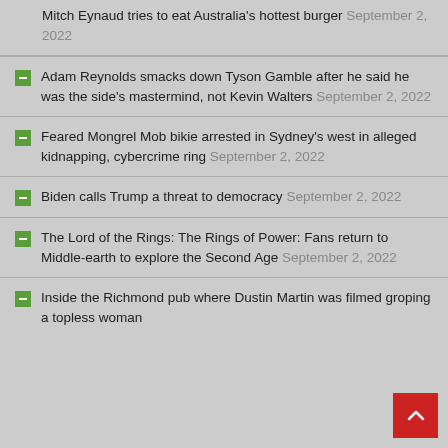Mitch Eynaud tries to eat Australia's hottest burger September 2, 2022
Adam Reynolds smacks down Tyson Gamble after he said he was the side's mastermind, not Kevin Walters September 2, 2022
Feared Mongrel Mob bikie arrested in Sydney's west in alleged kidnapping, cybercrime ring September 2, 2022
Biden calls Trump a threat to democracy September 2, 2022
The Lord of the Rings: The Rings of Power: Fans return to Middle-earth to explore the Second Age September 2, 2022
Inside the Richmond pub where Dustin Martin was filmed groping a topless woman